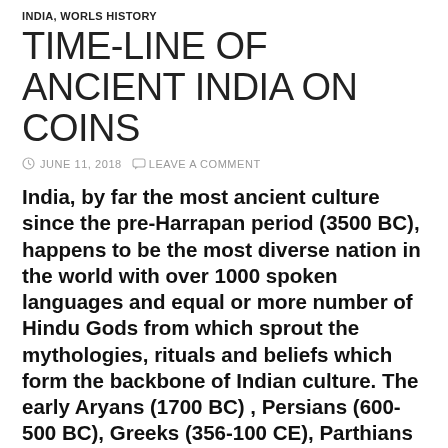INDIA, WORLS HISTORY
TIME-LINE OF ANCIENT INDIA ON COINS
JUNE 11, 2018   LEAVE A COMMENT
India, by far the most ancient culture since the pre-Harrapan period (3500 BC), happens to be the most diverse nation in the world with over 1000 spoken languages and equal or more number of Hindu Gods from which sprout the mythologies, rituals and beliefs which form the backbone of Indian culture. The early Aryans (1700 BC) , Persians (600-500 BC), Greeks (356-100 CE), Parthians (100 BC -395 CE), Sassanians (30-10 BC)  and